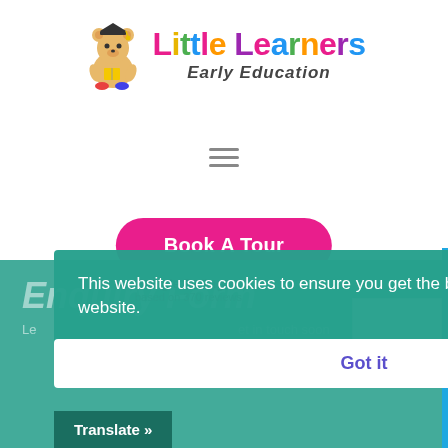[Figure (logo): Little Learners Early Education logo with cartoon bear mascot wearing graduation cap]
[Figure (other): Hamburger menu icon (three horizontal lines)]
Book A Tour
Enquiry Form
Le...                                          et in touch soon
This website uses cookies to ensure you get the best experience on our website.
Google Rating
based on 370 reviews
Got it
Translate »